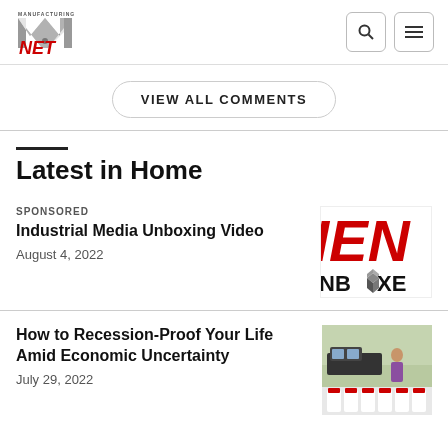Manufacturing.NET
VIEW ALL COMMENTS
Latest in Home
SPONSORED
Industrial Media Unboxing Video
August 4, 2022
[Figure (logo): IEN Unboxing video thumbnail with red IEN logo text and NBOXE text]
How to Recession-Proof Your Life Amid Economic Uncertainty
July 29, 2022
[Figure (photo): Photo of a woman at what appears to be an outdoor market or store with bottles in the foreground]